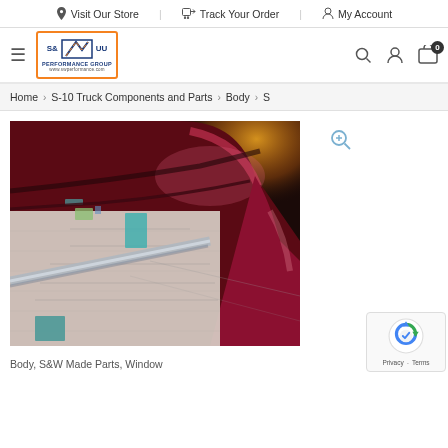Visit Our Store | Track Your Order | My Account
[Figure (logo): S&W Performance Group logo with orange border]
Home > S-10 Truck Components and Parts > Body > S
[Figure (photo): Close-up photo of a dark red/maroon vehicle roof corner with masking tape and paper for body work, with a chrome rod visible]
Body, S&W Made Parts, Window